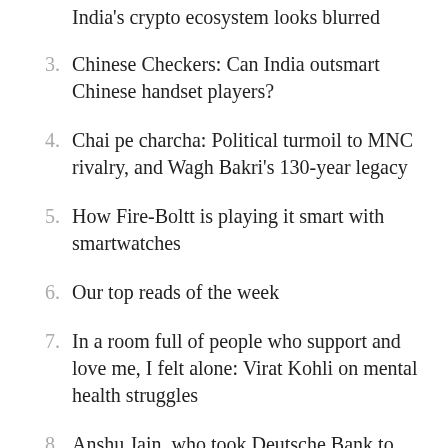India's crypto ecosystem looks blurred
3. Chinese Checkers: Can India outsmart Chinese handset players?
4. Chai pe charcha: Political turmoil to MNC rivalry, and Wagh Bakri's 130-year legacy
5. How Fire-Boltt is playing it smart with smartwatches
6. Our top reads of the week
7. In a room full of people who support and love me, I felt alone: Virat Kohli on mental health struggles
8. Anshu Jain, who took Deutsche Bank to Wall Street, dies at 59